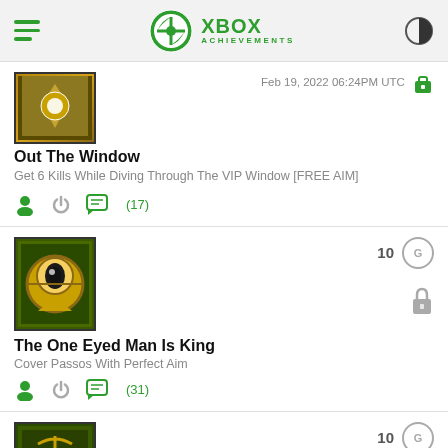XBOX ACHIEVEMENTS
Feb 19, 2022 06:24PM UTC
Out The Window
Get 6 Kills While Diving Through The VIP Window [FREE AIM]
(17)
[Figure (illustration): Achievement icon for The One Eyed Man Is King - golden eye in circle on dark green background]
10
The One Eyed Man Is King
Cover Passos With Perfect Aim
(31)
[Figure (illustration): Achievement icon partially visible - golden anchor design on dark green background]
10